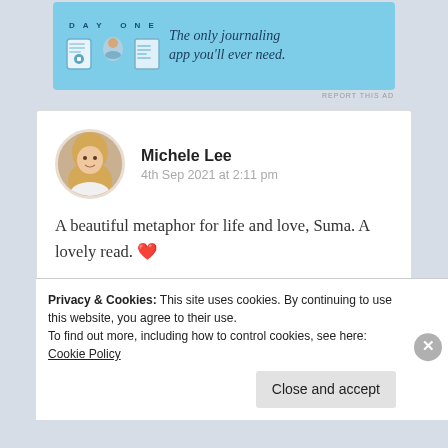[Figure (illustration): Day One journaling app advertisement banner with light blue background, icons of a journal, person, and notebook, and tagline 'The only journaling app you'll ever need.']
REPORT THIS AD
[Figure (photo): Circular avatar photo of Michele Lee, a woman with long blonde hair]
Michele Lee
4th Sep 2021 at 2:11 pm
A beautiful metaphor for life and love, Suma. A lovely read. ❤️
★ Liked by 2 people
Privacy & Cookies: This site uses cookies. By continuing to use this website, you agree to their use.
To find out more, including how to control cookies, see here: Cookie Policy
Close and accept